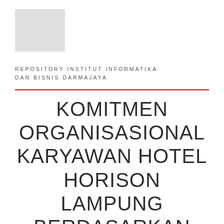[Figure (other): Light gray rectangular placeholder image/logo in top-left corner]
REPOSITORY INSTITUT INFORMATIKA DAN BISNIS DARMAJAYA
KOMITMEN ORGANISASIONAL KARYAWAN HOTEL HORISON LAMPUNG BERDASARKAN LINGKUNGAN KERJA